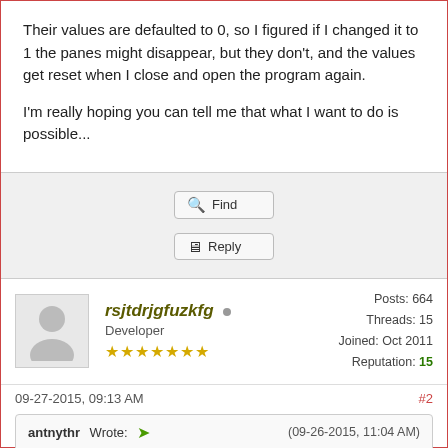Their values are defaulted to 0, so I figured if I changed it to 1 the panes might disappear, but they don't, and the values get reset when I close and open the program again.
I'm really hoping you can tell me that what I want to do is possible...
Find
Reply
rsjtdrjgfuzkfg
Developer
Posts: 664
Threads: 15
Joined: Oct 2011
Reputation: 15
09-27-2015, 09:13 AM
#2
antnythr Wrote: (09-26-2015, 11:04 AM)
I want to disable *all* the display panes, and by disable I don't mean hide the slider off to the side, I want the sliders gone too. I want to see only what is displayed within the main frame.